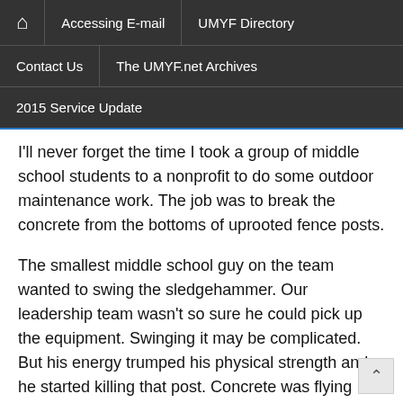🏠  |  Accessing E-mail  |  UMYF Directory  |  Contact Us  |  The UMYF.net Archives  |  2015 Service Update
I'll never forget the time I took a group of middle school students to a nonprofit to do some outdoor maintenance work. The job was to break the concrete from the bottoms of uprooted fence posts.
The smallest middle school guy on the team wanted to swing the sledgehammer. Our leadership team wasn't so sure he could pick up the equipment. Swinging it may be complicated. But his energy trumped his physical strength and he started killing that post. Concrete was flying everywhere, and his eye goggles fogged with dust and particles. On his final upswing he yelled out,
“I FEEL SO ALIVE!”